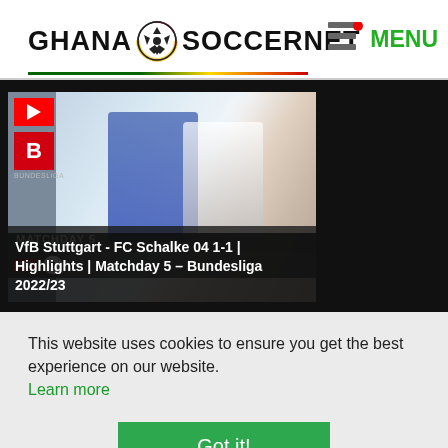[Figure (logo): Ghana Soccernet logo with soccer ball icon, green/yellow/red underline, and menu icon with MENU text in green]
[Figure (screenshot): YouTube video thumbnail showing VfB Stuttgart vs FC Schalke 04 Bundesliga Matchday 5 highlights with soccer action photo]
VfB Stuttgart - FC Schalke 04 1-1 | Highlights | Matchday 5 – Bundesliga 2022/23
This website uses cookies to ensure you get the best experience on our website.
Learn more
Got it!